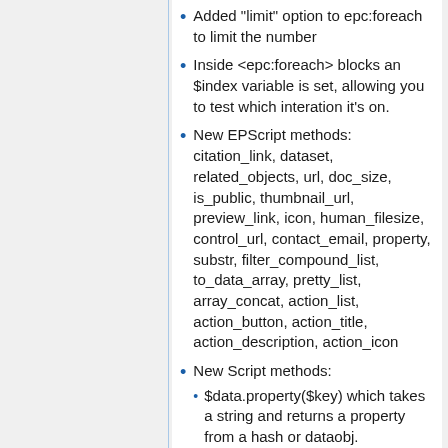Added "limit" option to epc:foreach to limit the number
Inside <epc:foreach> blocks an $index variable is set, allowing you to test which interation it's on.
New EPScript methods: citation_link, dataset, related_objects, url, doc_size, is_public, thumbnail_url, preview_link, icon, human_filesize, control_url, contact_email, property, substr, filter_compound_list, to_data_array, pretty_list, array_concat, action_list, action_button, action_title, action_description, action_icon
New Script methods:
$data.property($key) which takes a string and returns a property from a hash or dataobj.
$eprint.documents() which